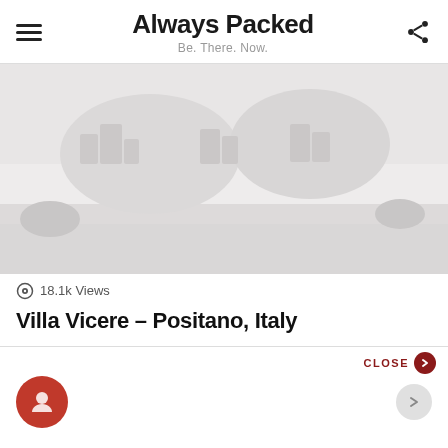Always Packed — Be. There. Now.
[Figure (photo): Faded/placeholder image area showing a scenic view, likely Positano Italy. The image appears washed out or not fully loaded, with muted gray tones.]
18.1k Views
Villa Vicere – Positano, Italy
CLOSE